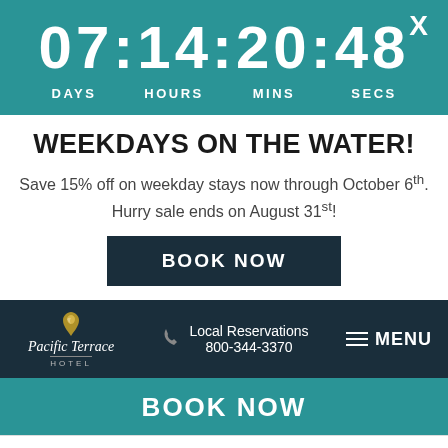07:14:20:48 DAYS HOURS MINS SECS
WEEKDAYS ON THE WATER!
Save 15% off on weekday stays now through October 6th. Hurry sale ends on August 31st!
BOOK NOW
[Figure (logo): Pacific Terrace Hotel logo with shell icon]
Local Reservations 800-344-3370
MENU
BOOK NOW
SAN DIEGO PADRES MLB SEASON